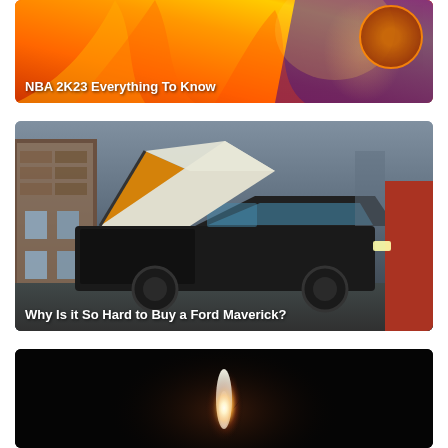[Figure (photo): NBA 2K23 promotional image with fire/flame background and colorful basketball graphics. Text overlay: 'NBA 2K23 Everything To Know']
[Figure (photo): Black Ford Maverick pickup truck with a rooftop tent/camper conversion (orange/yellow tent extended), parked in an urban street setting with brick buildings. Text overlay: 'Why Is it So Hard to Buy a Ford Maverick?']
[Figure (photo): A bright flame or candle light glowing against a very dark/black background]